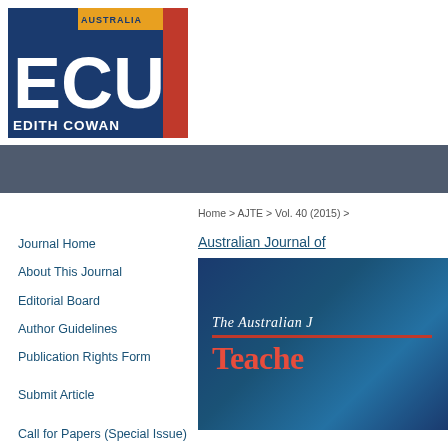[Figure (logo): Edith Cowan University (ECU) logo — Australia ECU Edith Cowan University text with blue, gold, and red graphic elements]
Home > AJTE > Vol. 40 (2015) >
Journal Home
About This Journal
Editorial Board
Author Guidelines
Publication Rights Form
Submit Article
Call for Papers (Special Issue)
Most Popular Papers
Australian Journal of
[Figure (illustration): The Australian Journal of Teacher Education cover image with dark blue background, red and white serif text reading 'The Australian J... Teache...']